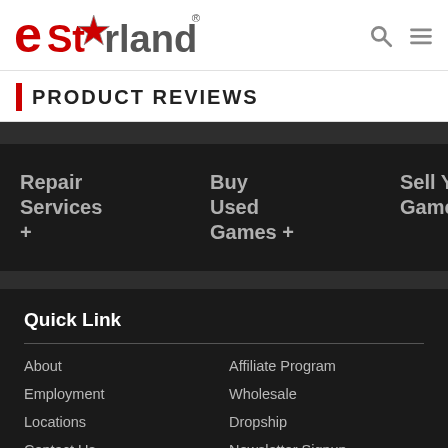eStarland
PRODUCT REVIEWS
Repair Services +
Buy Used Games +
Sell Your Games +
Quick Link
About
Affiliate Program
Employment
Wholesale
Locations
Dropship
Contact Us
Newsletter Signup